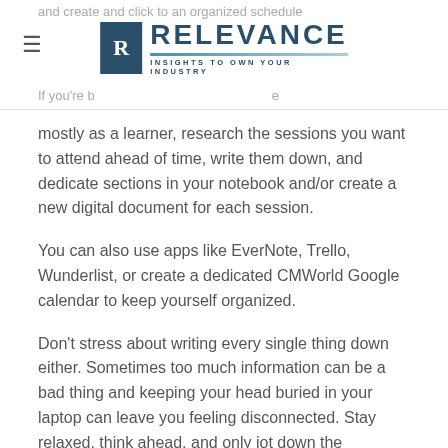and create and click to an organized schedule
[Figure (logo): Relevance logo: dark blue square with R, text RELEVANCE and tagline INSIGHTS TO OWN YOUR INDUSTRY]
If you're b... e
mostly as a learner, research the sessions you want to attend ahead of time, write them down, and dedicate sections in your notebook and/or create a new digital document for each session.
You can also use apps like EverNote, Trello, Wunderlist, or create a dedicated CMWorld Google calendar to keep yourself organized.
Don't stress about writing every single thing down either. Sometimes too much information can be a bad thing and keeping your head buried in your laptop can leave you feeling disconnected. Stay relaxed, think ahead, and only jot down the information you think will be useful to you in the future.